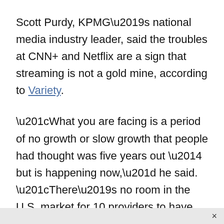Scott Purdy, KPMG's national media industry leader, said the troubles at CNN+ and Netflix are a sign that streaming is not a gold mine, according to Variety.
“What you are facing is a period of no growth or slow growth that people had thought was five years out — but is happening now,” he said. “There’s no room in the U.S. market for 10 providers to have 100 million-plus subs.”
This article appeared originally on The Western